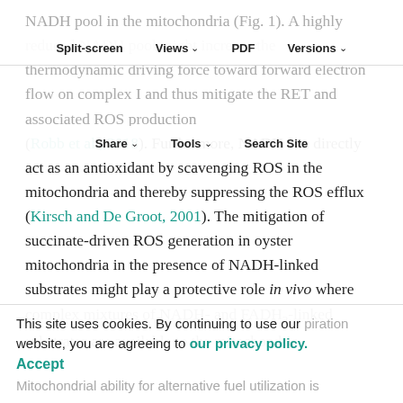NADH pool in the mitochondria (Fig. 1). A highly reduced NADH pool might increase the thermodynamic driving force toward forward electron flow on complex I and thus mitigate the RET and associated ROS production (Robb et al., 2018). Furthermore, NADH can directly act as an antioxidant by scavenging ROS in the mitochondria and thereby suppressing the ROS efflux (Kirsch and De Groot, 2001). The mitigation of succinate-driven ROS generation in oyster mitochondria in the presence of NADH-linked substrates might play a protective role in vivo where complex mixtures of NADH- and FADH2-linked substrates are available to the mitochondria.
Split-screen | Views | PDF | Versions | Share | Tools | Search Site
This site uses cookies. By continuing to use our website, you are agreeing to our privacy policy. Accept Mitochondrial ability for alternative fuel utilization is